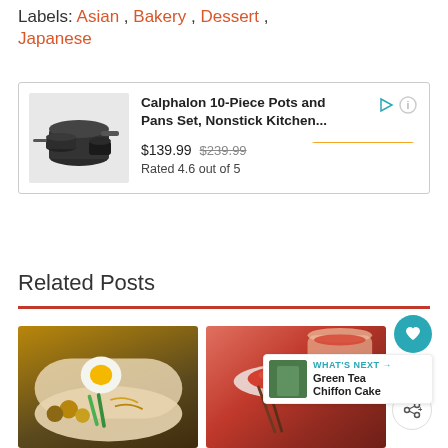Labels: Asian , Bakery , Dessert , Japanese
[Figure (infographic): Advertisement box for Calphalon 10-Piece Pots and Pans Set, Nonstick Kitchen... showing product image of black cookware, price $139.99 (was $239.99), Rated 4.6 out of 5, and an orange Buy Now button]
Related Posts
[Figure (photo): Food photo of a bowl with a hard-boiled egg, green beans, various fried items and noodles]
[Figure (photo): Food photo showing kimchi and chopsticks on a platter]
WHAT'S NEXT → Green Tea Chiffon Cake